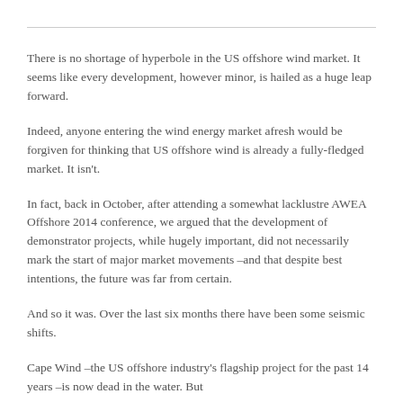There is no shortage of hyperbole in the US offshore wind market. It seems like every development, however minor, is hailed as a huge leap forward.
Indeed, anyone entering the wind energy market afresh would be forgiven for thinking that US offshore wind is already a fully-fledged market. It isn't.
In fact, back in October, after attending a somewhat lacklustre AWEA Offshore 2014 conference, we argued that the development of demonstrator projects, while hugely important, did not necessarily mark the start of major market movements –and that despite best intentions, the future was far from certain.
And so it was. Over the last six months there have been some seismic shifts.
Cape Wind –the US offshore industry's flagship project for the past 14 years –is now dead in the water. But